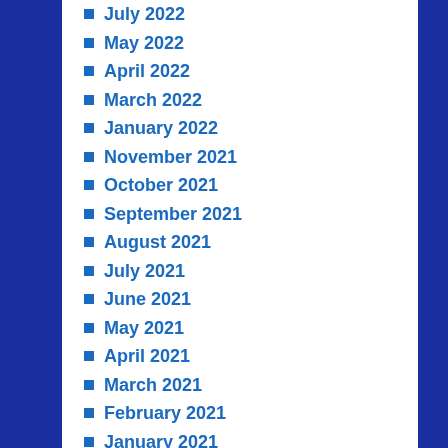July 2022
May 2022
April 2022
March 2022
January 2022
November 2021
October 2021
September 2021
August 2021
July 2021
June 2021
May 2021
April 2021
March 2021
February 2021
January 2021
December 2020
November 2020
October 2020
September 2020
August 2020
July 2020